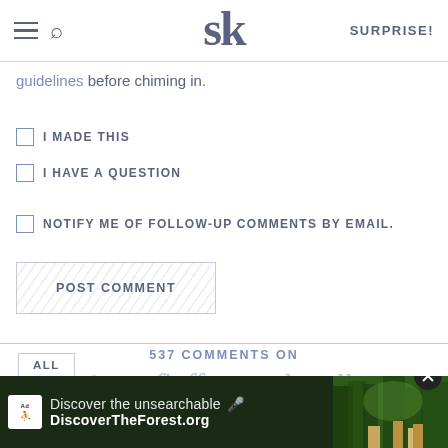SK | SURPRISE!
guidelines before chiming in.
I MADE THIS
I HAVE A QUESTION
NOTIFY ME OF FOLLOW-UP COMMENTS BY EMAIL.
POST COMMENT
537 COMMENTS ON
· springy, fluffy marshmallows ·
ALL
[Figure (screenshot): Advertisement banner for DiscoverTheForest.org showing 'Discover the unsearchable' text with forest background photo and close button]